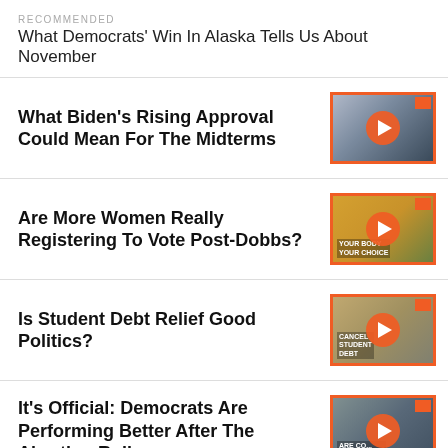RECOMMENDED
What Democrats’ Win In Alaska Tells Us About November
What Biden’s Rising Approval Could Mean For The Midterms
[Figure (photo): Video thumbnail of Biden speaking at podium]
Are More Women Really Registering To Vote Post-Dobbs?
[Figure (photo): Video thumbnail of protest with Your Body Your Choice signs]
Is Student Debt Relief Good Politics?
[Figure (photo): Video thumbnail of student debt rally with Cancel Student Debt signs]
It’s Official: Democrats Are Performing Better After The Abortion Ruling
[Figure (photo): Video thumbnail of man speaking in front of building]